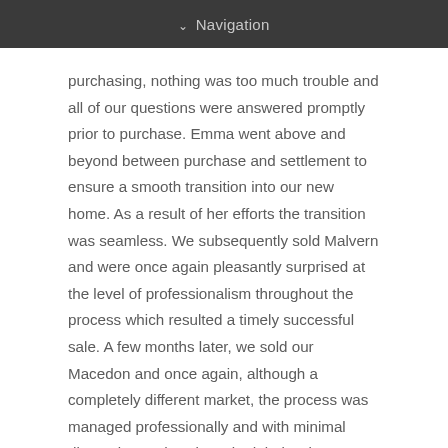Navigation
purchasing, nothing was too much trouble and all of our questions were answered promptly prior to purchase. Emma went above and beyond between purchase and settlement to ensure a smooth transition into our new home. As a result of her efforts the transition was seamless. We subsequently sold Malvern and were once again pleasantly surprised at the level of professionalism throughout the process which resulted a timely successful sale. A few months later, we sold our Macedon and once again, although a completely different market, the process was managed professionally and with minimal distruption and Jock worked tirelessly to achieve a competitive sales process and an outcome we were very happy with. We thank you both for your outstanding service and would highly recommend Abercromby's Real Estate to anyone